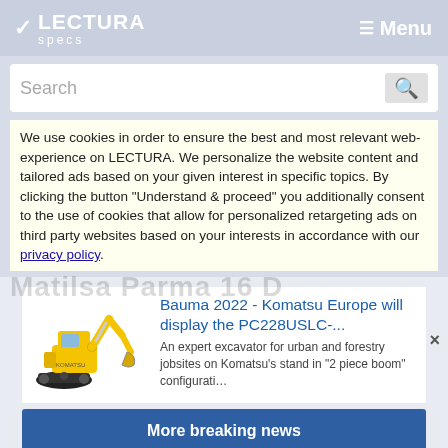LECTURA specs | Menu
Search
We use cookies in order to ensure the best and most relevant web-experience on LECTURA. We personalize the website content and tailored ads based on your given interest in specific topics. By clicking the button "Understand & proceed" you additionally consent to the use of cookies that allow for personalized retargeting ads on third party websites based on your interests in accordance with our privacy policy.
[Figure (photo): Komatsu yellow excavator machine illustration]
Bauma 2022 - Komatsu Europe will display the PC228USLC-...
An expert excavator for urban and forestry jobsites on Komatsu's stand in "2 piece boom" configurati…
More breaking news